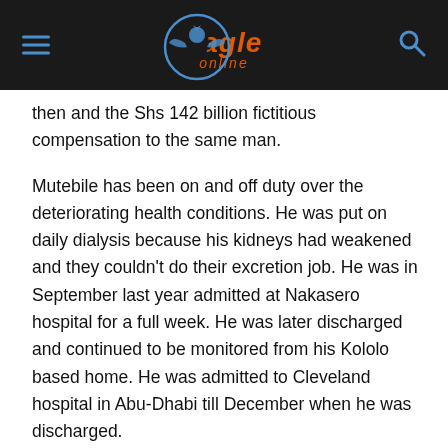Eagle Online
then and the Shs 142 billion fictitious compensation to the same man.
Mutebile has been on and off duty over the deteriorating health conditions. He was put on daily dialysis because his kidneys had weakened and they couldn't do their excretion job. He was in September last year admitted at Nakasero hospital for a full week. He was later discharged and continued to be monitored from his Kololo based home. He was admitted to Cleveland hospital in Abu-Dhabi till December when he was discharged.
The 72 year old, whose contract was renewed on January 12th, 2021 for five years, has been at the helm of the central bank since 2001. He is the longest serving Chief